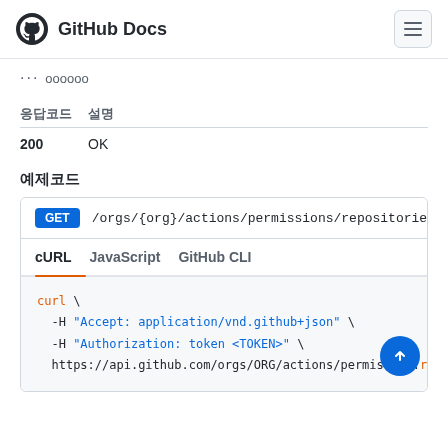GitHub Docs
... oooooo
| 응답코드 | 설명 |
| --- | --- |
| 200 | OK |
예제코드
[Figure (screenshot): API endpoint box showing GET /orgs/{org}/actions/permissions/repositories with cURL, JavaScript, GitHub CLI tabs and a curl code example]
curl \
  -H "Accept: application/vnd.github+json" \
  -H "Authorization: token <TOKEN>" \
  https://api.github.com/orgs/ORG/actions/permissions/repo